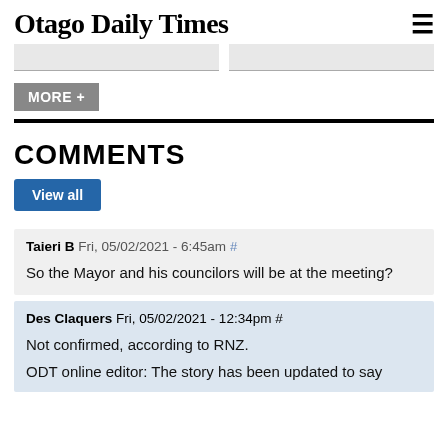Otago Daily Times
COMMENTS
View all
Taieri B Fri, 05/02/2021 - 6:45am #

So the Mayor and his councilors will be at the meeting?
Des Claquers Fri, 05/02/2021 - 12:34pm #

Not confirmed, according to RNZ.

ODT online editor: The story has been updated to say